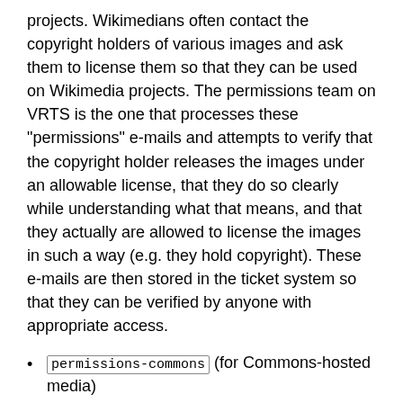projects. Wikimedians often contact the copyright holders of various images and ask them to license them so that they can be used on Wikimedia projects. The permissions team on VRTS is the one that processes these "permissions" e-mails and attempts to verify that the copyright holder releases the images under an allowable license, that they do so clearly while understanding what that means, and that they actually are allowed to license the images in such a way (e.g. they hold copyright). These e-mails are then stored in the ticket system so that they can be verified by anyone with appropriate access.
permissions-commons (for Commons-hosted media)
permissions-ar (арабй)
permissions-cs (чехй)
permissions-de (немисй)